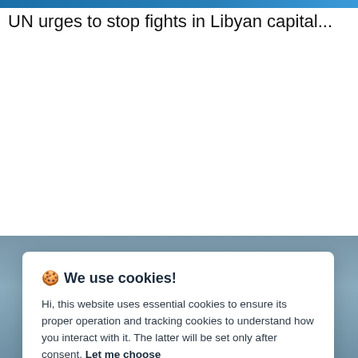[Figure (screenshot): Top blue navigation bar strip of a news website]
UN urges to stop fights in Libyan capital...
[Figure (photo): Bluish-grey background image strip of a news article page]
🍪 We use cookies!
Hi, this website uses essential cookies to ensure its proper operation and tracking cookies to understand how you interact with it. The latter will be set only after consent. Let me choose
Accept all
Reject all